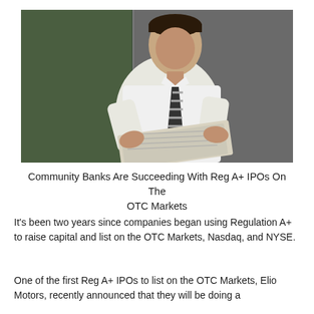[Figure (photo): A young businessman in a white shirt and striped tie looking down at a newspaper or document he is holding, standing against a dark grey wall background.]
Community Banks Are Succeeding With Reg A+ IPOs On The OTC Markets
It's been two years since companies began using Regulation A+ to raise capital and list on the OTC Markets, Nasdaq, and NYSE.
One of the first Reg A+ IPOs to list on the OTC Markets, Elio Motors, recently announced that they will be doing a